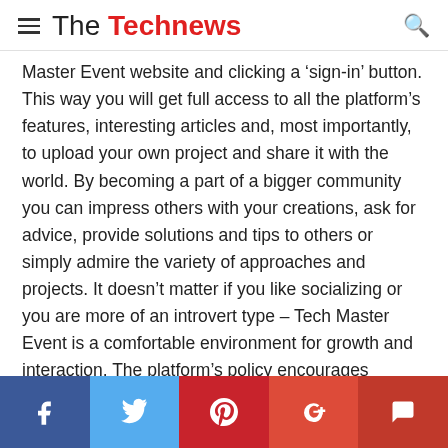The Technews
Master Event website and clicking a ‘sign-in’ button. This way you will get full access to all the platform’s features, interesting articles and, most importantly, to upload your own project and share it with the world. By becoming a part of a bigger community you can impress others with your creations, ask for advice, provide solutions and tips to others or simply admire the variety of approaches and projects. It doesn’t matter if you like socializing or you are more of an introvert type – Tech Master Event is a comfortable environment for growth and interaction. The platform’s policy encourages creativity and interaction. However, it only allows constructive criticism (which is also crucial for one’s development) and blocks any kind
[Figure (infographic): Social sharing bar with five buttons: Facebook (dark blue), Twitter (light blue), Pinterest (red), Google+ (orange-red), Comment (dark red)]